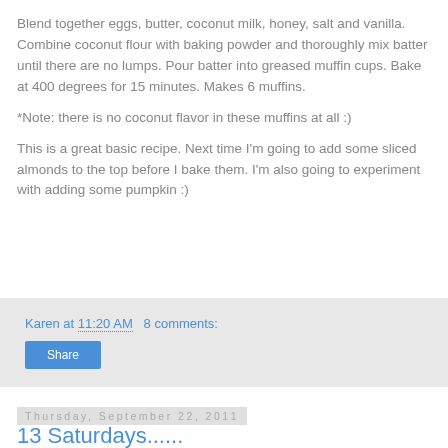Blend together eggs, butter, coconut milk, honey, salt and vanilla. Combine coconut flour with baking powder and thoroughly mix batter until there are no lumps. Pour batter into greased muffin cups. Bake at 400 degrees for 15 minutes. Makes 6 muffins.
*Note: there is no coconut flavor in these muffins at all :)
This is a great basic recipe. Next time I'm going to add some sliced almonds to the top before I bake them. I'm also going to experiment with adding some pumpkin :)
Karen at 11:20 AM   8 comments:
Share
Thursday, September 22, 2011
13 Saturdays......